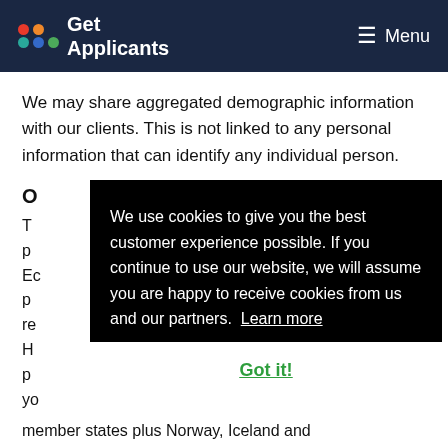Get Applicants | Menu
We may share aggregated demographic information with our clients. This is not linked to any personal information that can identify any individual person.
O
We use cookies to give you the best customer experience possible. If you continue to use our website, we will assume you are happy to receive cookies from us and our partners. Learn more
Got it!
member states plus Norway, Iceland and